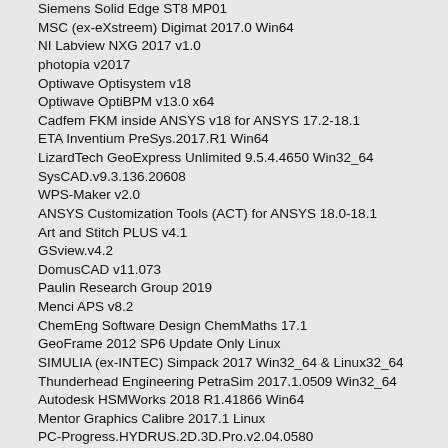Siemens Solid Edge ST8 MP01
MSC (ex-eXstreem) Digimat 2017.0 Win64
NI Labview NXG 2017 v1.0
photopia v2017
Optiwave Optisystem v18
Optiwave OptiBPM v13.0 x64
Cadfem FKM inside ANSYS v18 for ANSYS 17.2-18.1
ETA Inventium PreSys.2017.R1 Win64
LizardTech GeoExpress Unlimited 9.5.4.4650 Win32_64
SysCAD.v9.3.136.20608
WPS-Maker v2.0
ANSYS Customization Tools (ACT) for ANSYS 18.0-18.1
Art and Stitch PLUS v4.1
GSview.v4.2
DomusCAD v11.073
Paulin Research Group 2019
Menci APS v8.2
ChemEng Software Design ChemMaths 17.1
GeoFrame 2012 SP6 Update Only Linux
SIMULIA (ex-INTEC) Simpack 2017 Win32_64 & Linux32_64
Thunderhead Engineering PetraSim 2017.1.0509 Win32_64
Autodesk HSMWorks 2018 R1.41866 Win64
Mentor Graphics Calibre 2017.1 Linux
PC-Progress.HYDRUS.2D.3D.Pro.v2.04.0580
Steel 3.0e